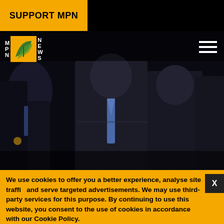SUPPORT MPN
[Figure (logo): MPN News logo with yellow box and green leaf design]
[Figure (photo): Group of men in dark suits walking, political/government scene. Photo credit: Cliff Ow]
Cliff Ow
GOP NEEDS TO CLEAR NET NEUTRALITY, IMMIGRATION REFORM HURDLES ON THE
We use cookies to offer you a better experience, analyse site traffic, and serve targeted advertisements. We may use third-party services for this purpose. By continuing to use this website, you consent to the use of cookies in accordance with our Cookie Policy.